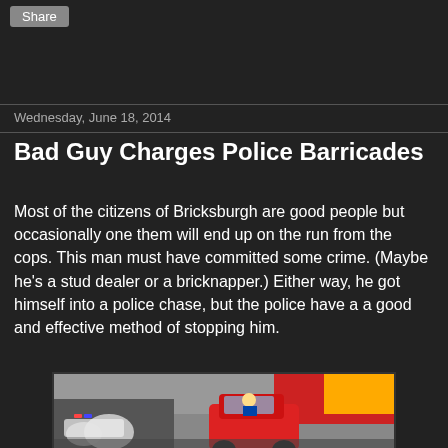Share
Wednesday, June 18, 2014
Bad Guy Charges Police Barricades
Most of the citizens of Bricksburgh are good people but occasionally one them will end up on the run from the cops. This man must have committed some crime. (Maybe he's a stud dealer or a bricknapper.) Either way, he got himself into a police chase, but the police have a a good and effective method of stopping him.
[Figure (photo): Photo of LEGO police scene with a red car being chased by police motorcycles and vehicles, with colorful LEGO buildings in the background]